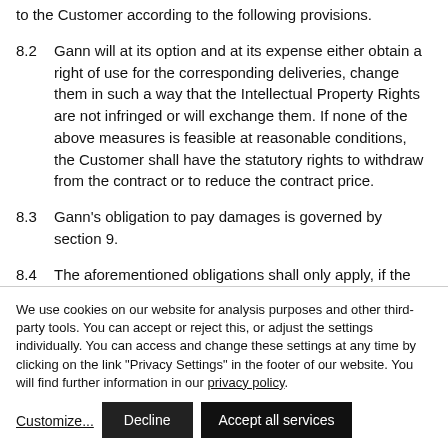to the Customer according to the following provisions.
8.2    Gann will at its option and at its expense either obtain a right of use for the corresponding deliveries, change them in such a way that the Intellectual Property Rights are not infringed or will exchange them. If none of the above measures is feasible at reasonable conditions, the Customer shall have the statutory rights to withdraw from the contract or to reduce the contract price.
8.3    Gann’s obligation to pay damages is governed by section 9.
8.4    The aforementioned obligations shall only apply, if the Customer has immediately informed Gann about any
We use cookies on our website for analysis purposes and other third-party tools. You can accept or reject this, or adjust the settings individually. You can access and change these settings at any time by clicking on the link “Privacy Settings” in the footer of our website. You will find further information in our privacy policy.
Customize...
Decline
Accept all services